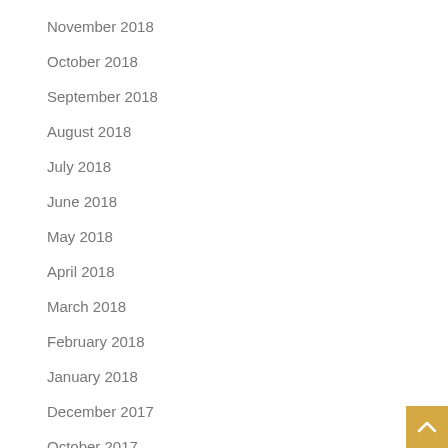November 2018
October 2018
September 2018
August 2018
July 2018
June 2018
May 2018
April 2018
March 2018
February 2018
January 2018
December 2017
October 2017
September 2017
May 2017